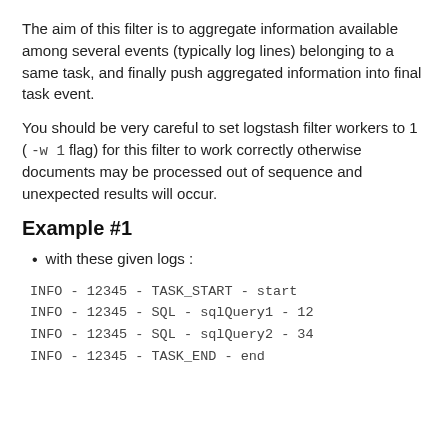The aim of this filter is to aggregate information available among several events (typically log lines) belonging to a same task, and finally push aggregated information into final task event.
You should be very careful to set logstash filter workers to 1 ( -w 1 flag) for this filter to work correctly otherwise documents may be processed out of sequence and unexpected results will occur.
Example #1
with these given logs :
INFO - 12345 - TASK_START - start
INFO - 12345 - SQL - sqlQuery1 - 12
INFO - 12345 - SQL - sqlQuery2 - 34
INFO - 12345 - TASK_END - end